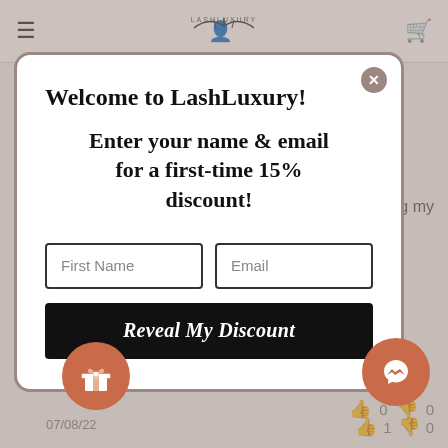[Figure (screenshot): Website background showing navigation bar with hamburger menu, user icon, LashLuxury logo, and shopping cart icon. Background shows partial review content with text 'irritating my' and 'on my reading h the long', thumbs up/down icons, date 07/08/22]
Welcome to LashLuxury!
Enter your name & email for a first-time 15% discount!
First Name
Email
Reveal My Discount